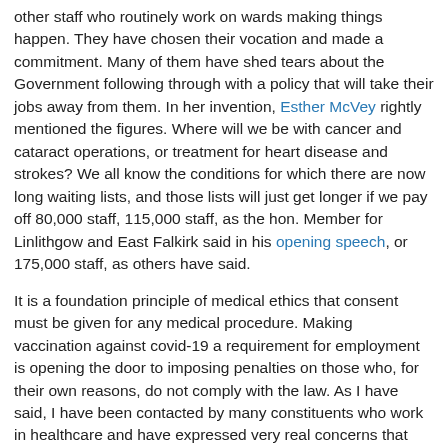other staff who routinely work on wards making things happen. They have chosen their vocation and made a commitment. Many of them have shed tears about the Government following through with a policy that will take their jobs away from them. In her invention, Esther McVey rightly mentioned the figures. Where will we be with cancer and cataract operations, or treatment for heart disease and strokes? We all know the conditions for which there are now long waiting lists, and those lists will just get longer if we pay off 80,000 staff, 115,000 staff, as the hon. Member for Linlithgow and East Falkirk said in his opening speech, or 175,000 staff, as others have said.
It is a foundation principle of medical ethics that consent must be given for any medical procedure. Making vaccination against covid-19 a requirement for employment is opening the door to imposing penalties on those who, for their own reasons, do not comply with the law. As I have said, I have been contacted by many constituents who work in healthcare and have expressed very real concerns that mandatory vaccination for covid-19 will lead to a two-tier workplace—yes, it will—that will see vaccinated employees rewarded by financial incentives over those who choose not to be vaccinated. That is happening across the world.
Every one of those staff has dedicated themselves to their excellent work. We all know that our healthcare workers are driven by their duty